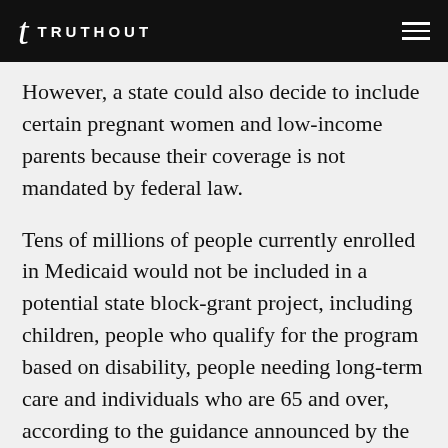TRUTHOUT
However, a state could also decide to include certain pregnant women and low-income parents because their coverage is not mandated by federal law.
Tens of millions of people currently enrolled in Medicaid would not be included in a potential state block-grant project, including children, people who qualify for the program based on disability, people needing long-term care and individuals who are 65 and over, according to the guidance announced by the Centers for